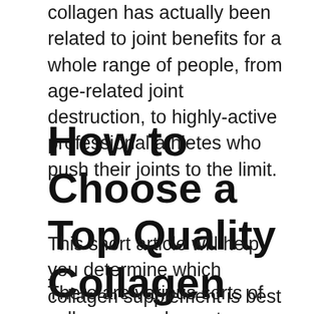collagen has actually been related to joint benefits for a whole range of people, from age-related joint destruction, to highly-active professional athletes who push their joints to the limit.
How to Choose a Top Quality Collagen Supplement
This short article will help you determine which collagen supplement is best for you.
There are various sorts of collagen supplements on the marketplace today. With a lot of alternatives, it can be hard to